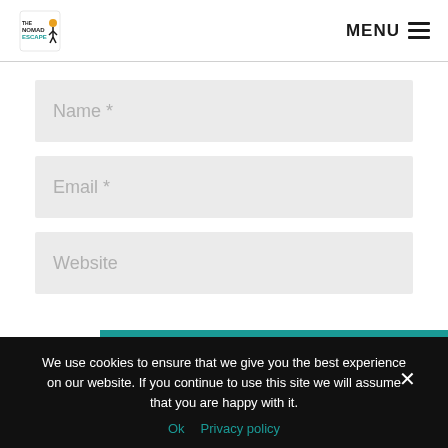The Nomad Escape — MENU
Name *
Email *
Website
SUBMIT COMMENT
We use cookies to ensure that we give you the best experience on our website. If you continue to use this site we will assume that you are happy with it.
Ok   Privacy policy